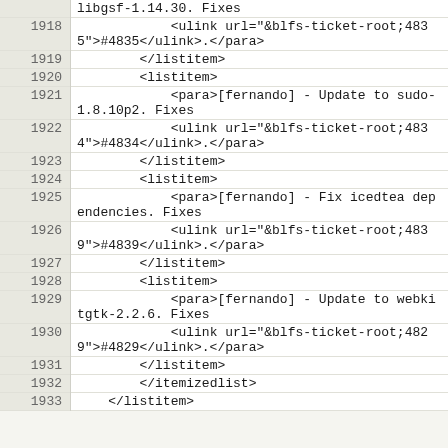| line | code |
| --- | --- |
|  | libgsf-1.14.30. Fixes |
| 1918 |             <ulink url="&blfs-ticket-root;4835">#4835</ulink>.</para> |
| 1919 |         </listitem> |
| 1920 |         <listitem> |
| 1921 |             <para>[fernando] - Update to sudo-1.8.10p2. Fixes |
| 1922 |             <ulink url="&blfs-ticket-root;4834">#4834</ulink>.</para> |
| 1923 |         </listitem> |
| 1924 |         <listitem> |
| 1925 |             <para>[fernando] - Fix icedtea dependencies. Fixes |
| 1926 |             <ulink url="&blfs-ticket-root;4839">#4839</ulink>.</para> |
| 1927 |         </listitem> |
| 1928 |         <listitem> |
| 1929 |             <para>[fernando] - Update to webkitgtk-2.2.6. Fixes |
| 1930 |             <ulink url="&blfs-ticket-root;4829">#4829</ulink>.</para> |
| 1931 |         </listitem> |
| 1932 |         </itemizedlist> |
| 1933 |     </listitem> |